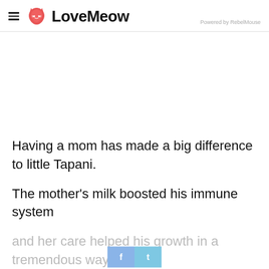LoveMeow — Powered by RebelMouse
Having a mom has made a big difference to little Tapani.
The mother's milk boosted his immune system and her care helped his growth in a tremendous way.